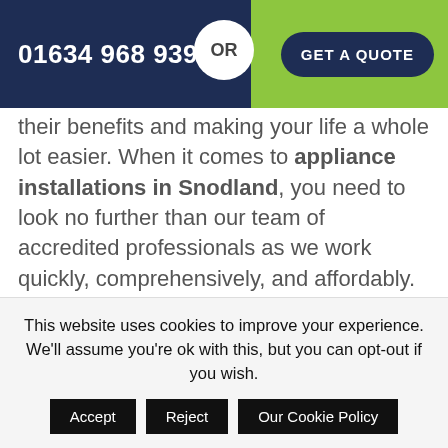01634 968 939  OR  GET A QUOTE
their benefits and making your life a whole lot easier. When it comes to appliance installations in Snodland, you need to look no further than our team of accredited professionals as we work quickly, comprehensively, and affordably.
During our many years of successful operation in the Snodland area, we've carried out countless successful appliance installations, so we'll know how to prepare
This website uses cookies to improve your experience. We'll assume you're ok with this, but you can opt-out if you wish.
Accept
Reject
Our Cookie Policy